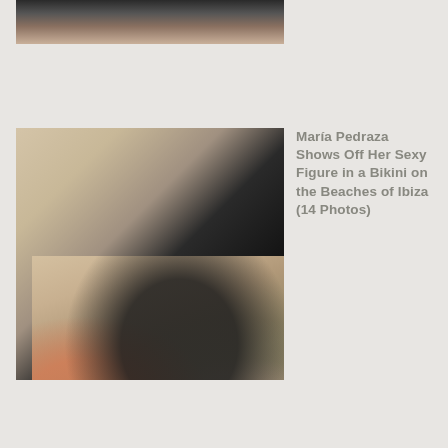[Figure (photo): Partial top photo showing legs and boots of a person, cropped at top]
[Figure (photo): María Pedraza on the beach in Ibiza wearing a black bikini/swimsuit, with other people around her in colorful bikinis]
María Pedraza Shows Off Her Sexy Figure in a Bikini on the Beaches of Ibiza (14 Photos)